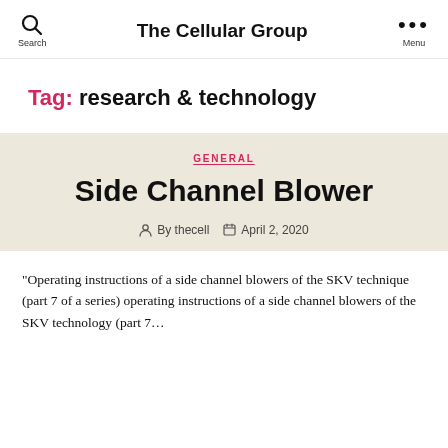The Cellular Group
Tag: research & technology
GENERAL
Side Channel Blower
By thecell   April 2, 2020
“Operating instructions of a side channel blowers of the SKV technique (part 7 of a series) operating instructions of a side channel blowers of the SKV technology (part 7…